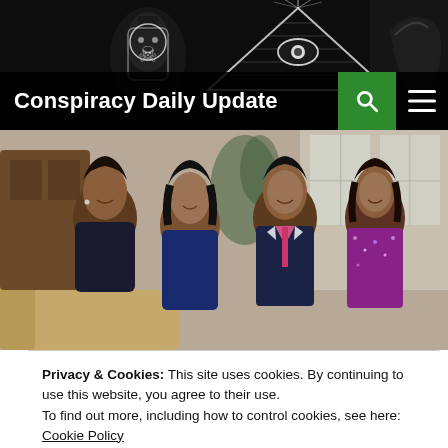[Figure (screenshot): Website header banner with dark background showing conspiracy-themed imagery including an illuminati eye pyramid symbol and a skull/poison bottle icon on the left]
Conspiracy Daily Update
[Figure (photo): Family photo of four people smiling together in an indoor setting, casually posed on a sofa]
Privacy & Cookies: This site uses cookies. By continuing to use this website, you agree to their use.
To find out more, including how to control cookies, see here: Cookie Policy
Close and accept